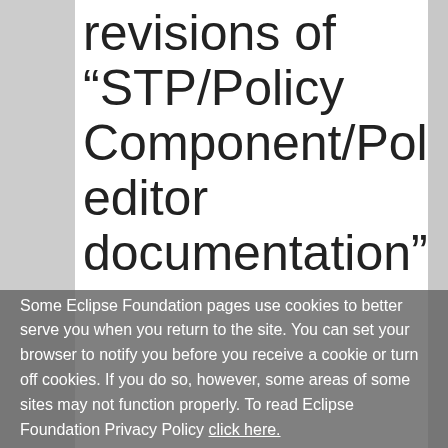revisions of "STP/Policy Component/Policy editor documentation"
Some Eclipse Foundation pages use cookies to better serve you when you return to the site. You can set your browser to notify you before you receive a cookie or turn off cookies. If you do so, however, some areas of some sites may not function properly. To read Eclipse Foundation Privacy Policy click here.
Revision as of 11:10, 5 December 2007 (view source) Andrei.shakirin.sopera.d ... (Talk | contribs) (→STP Policy Meetings) ← Older edit
Revision as of 11:13, 5 December 2007 (view source) Andrei.shakirin.sopera.d ... (Talk | contribs) (→XEF and WTP Editors Integration) Newer edit →